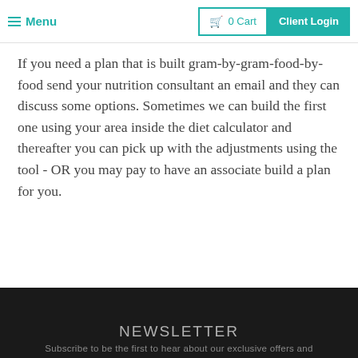Menu | 0 Cart | Client Login
If you need a plan that is built gram-by-gram-food-by-food send your nutrition consultant an email and they can discuss some options. Sometimes we can build the first one using your area inside the diet calculator and thereafter you can pick up with the adjustments using the tool - OR you may pay to have an associate build a plan for you.
NEWSLETTER
Subscribe to be the first to hear about our exclusive offers and